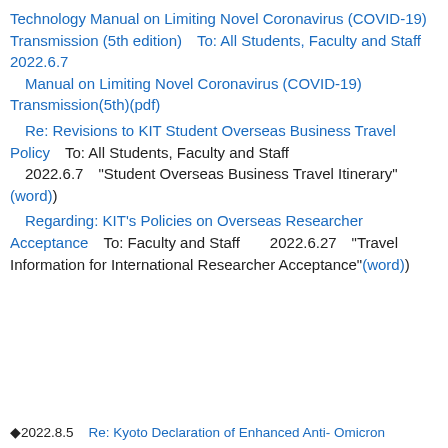Technology Manual on Limiting Novel Coronavirus (COVID-19) Transmission (5th edition)　To: All Students, Faculty and Staff　　2022.6.7　　Manual on Limiting Novel Coronavirus (COVID-19) Transmission(5th)(pdf)
Re: Revisions to KIT Student Overseas Business Travel Policy　To: All Students, Faculty and Staff　　2022.6.7　"Student Overseas Business Travel Itinerary"(word)
Regarding: KIT's Policies on Overseas Researcher Acceptance　To: Faculty and Staff　　2022.6.27　"Travel Information for International Researcher Acceptance"(word)
◆2022.8.5　Re: Kyoto Declaration of Enhanced Anti- Omicron